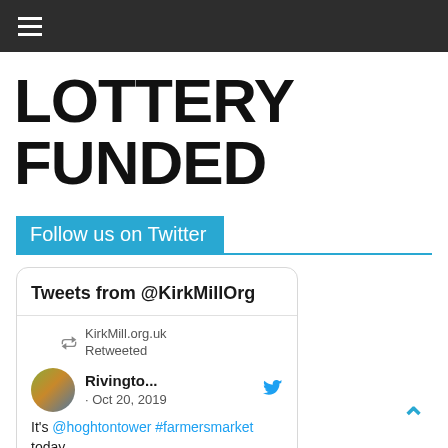≡ (hamburger menu)
LOTTERY FUNDED
Follow us on Twitter
Tweets from @KirkMillOrg
KirkMill.org.uk Retweeted
Rivingto... · Oct 20, 2019
It's @hoghtontower #farmersmarket today.